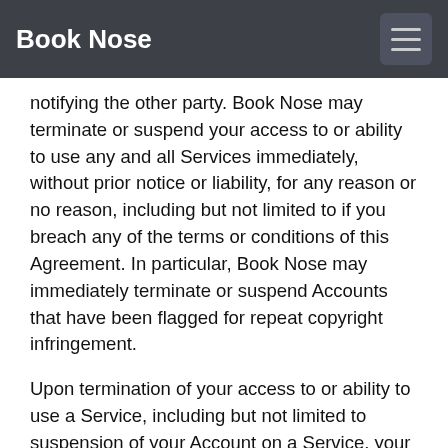Book Nose
notifying the other party. Book Nose may terminate or suspend your access to or ability to use any and all Services immediately, without prior notice or liability, for any reason or no reason, including but not limited to if you breach any of the terms or conditions of this Agreement. In particular, Book Nose may immediately terminate or suspend Accounts that have been flagged for repeat copyright infringement.
Upon termination of your access to or ability to use a Service, including but not limited to suspension of your Account on a Service, your right to use or access that Service and any Content will immediately cease. All provisions of this Agreement that by their nature should survive termination shall survive termination, including, without limitation, ownership provisions, warranty disclaimers, and limitations of liability. Termination of your